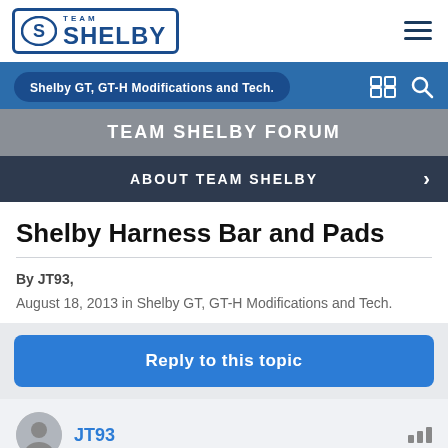TEAM SHELBY
Shelby GT, GT-H Modifications and Tech.
TEAM SHELBY FORUM
ABOUT TEAM SHELBY
Shelby Harness Bar and Pads
By JT93,
August 18, 2013 in Shelby GT, GT-H Modifications and Tech.
Reply to this topic
JT93